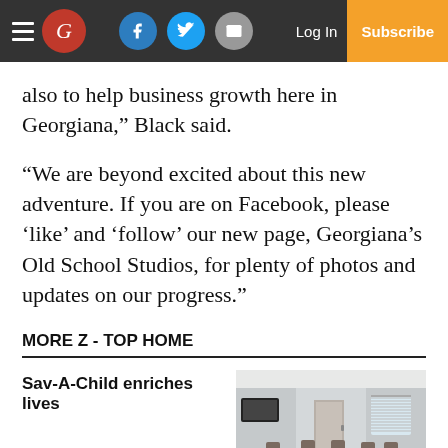Newspaper navigation bar with logo, social icons (Facebook, Twitter, Email), Log In, and Subscribe
also to help business growth here in Georgiana,” Black said.
“We are beyond excited about this new adventure. If you are on Facebook, please ‘like’ and ‘follow’ our new page, Georgiana’s Old School Studios, for plenty of photos and updates on our progress.”
MORE Z - TOP HOME
Sav-A-Child enriches lives
[Figure (photo): Interior room photo showing a bright room with chairs, a table, windows with blinds, and what appears to be a TV on the wall.]